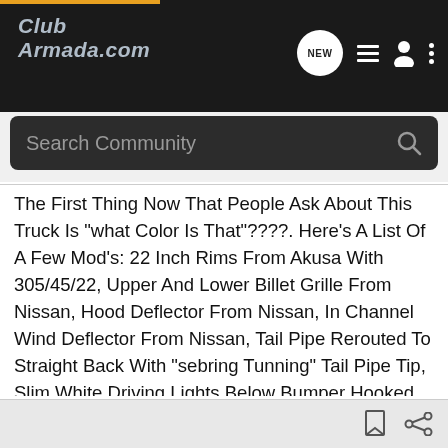ClubArmada.com — navigation bar with NEW chat button, list icon, user icon, menu icon
Search Community
The First Thing Now That People Ask About This Truck Is "what Color Is That"????. Here's A List Of A Few Mod's: 22 Inch Rims From Akusa With 305/45/22, Upper And Lower Billet Grille From Nissan, Hood Deflector From Nissan, In Channel Wind Deflector From Nissan, Tail Pipe Rerouted To Straight Back With "sebring Tunning" Tail Pipe Tip, Slim White Driving Lights Below Bumper Hooked Up To Back Up Lights For More Visibility, 35% Tint On Front Windows, Black Body Molding Aroung Wheel Arches, Round Tow Hith Cover And Notice That Names On Back Gate Are Gone (very Easy To Remove). That's It For Now. Let Me Know How You Like It.